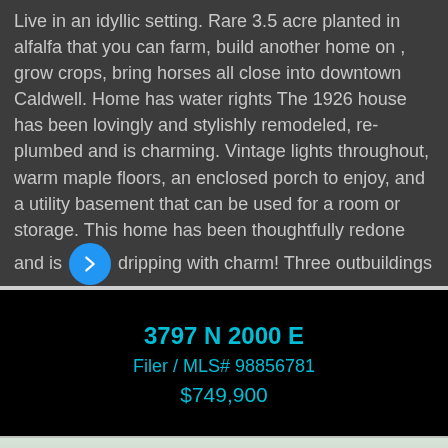Live in an idyllic setting. Rare 3.5 acre planted in alfalfa that you can farm, build another home on , grow crops, bring horses all close into downtown Caldwell. Home has water rights The 1926 house has been lovingly and stylishly remodeled, re-plumbed and is charming. Vintage lights throughout, warm maple floors, an enclosed porch to enjoy, and a utility basement that can be used for a room or storage. This home has been thoughtfully redone and is dripping with charm! Three outbuildings that can
3797 N 2000 E
Filer / MLS# 98856781
$749,900
[Figure (photo): Exterior photo of a home with trees and sky visible, an American flag, and a chimney]
5 Beds, 2 Baths, 2 Car Garage